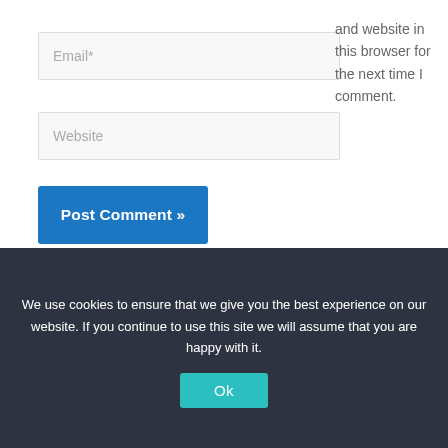Email*
Website
and website in this browser for the next time I comment.
Post Comment »
Search
We use cookies to ensure that we give you the best experience on our website. If you continue to use this site we will assume that you are happy with it.
Ok